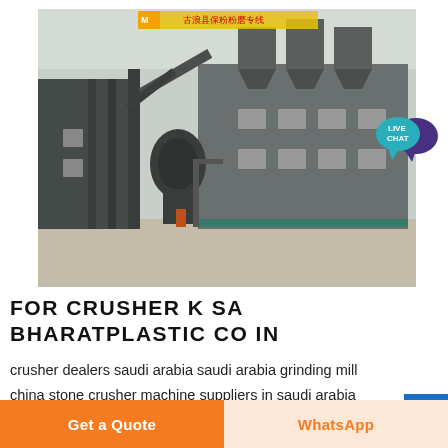[Figure (photo): Aerial/ground-level photo of an industrial stone crusher / grinding mill plant facility with large grey buildings, machinery, silos, and Chinese signage on a rooftop banner.]
FOR CRUSHER K SA BHARATPLASTIC CO IN
crusher dealers saudi arabia saudi arabia grinding mill china stone crusher machine suppliers in saudi arabia saudi arabia loses spot as top crude supplier to ...
Get a Quote
WhatsApp